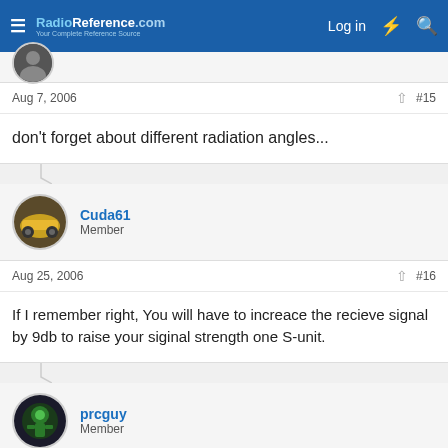RadioReference.com — Log in
[Figure (photo): Small circular avatar of a user at top, partially visible]
Aug 7, 2006  #15
don't forget about different radiation angles...
Cuda61
Member
Aug 25, 2006  #16
If I remember right, You will have to increace the recieve signal by 9db to raise your siginal strength one S-unit.
prcguy
Member
Aug 25, 2006  #17